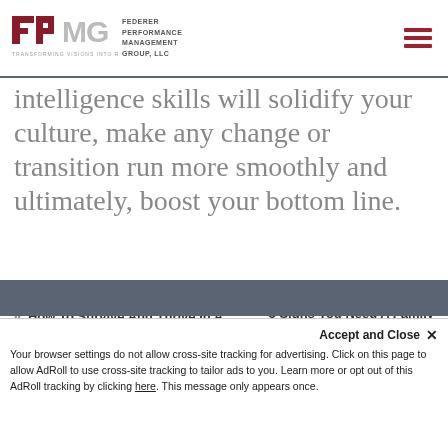[Figure (logo): FPMG Federer Performance Management Group, LLC logo with tagline TRANSFORMING VISIONS INTO RESULTS]
intelligence skills will solidify your culture, make any change or transition run more smoothly and ultimately, boost your bottom line.
« How To Survive And Thrive In A Matrix Organization
5 Signs You Need A Family Business Consultant »
Accept and Close ✕
Your browser settings do not allow cross-site tracking for advertising. Click on this page to allow AdRoll to use cross-site tracking to tailor ads to you. Learn more or opt out of this AdRoll tracking by clicking here. This message only appears once.